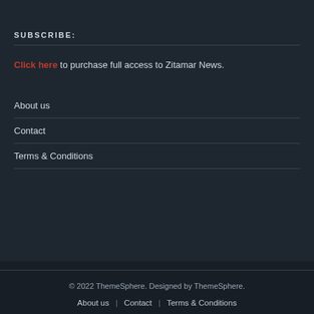SUBSCRIBE:
Click here to purchase full access to Zitamar News.
About us
Contact
Terms & Conditions
© 2022 ThemeSphere. Designed by ThemeSphere.
About us | Contact | Terms & Conditions